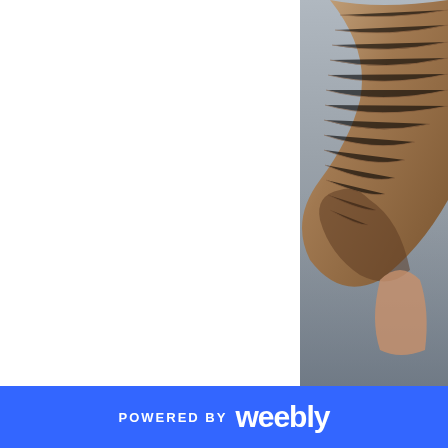[Figure (photo): Close-up photograph of a woman's shoe or heel with textured brown/tan fabric or material, against a neutral grey gradient background. The image is cropped showing only the upper right portion of the item.]
And, let's not forget a woma...
POWERED BY weebly